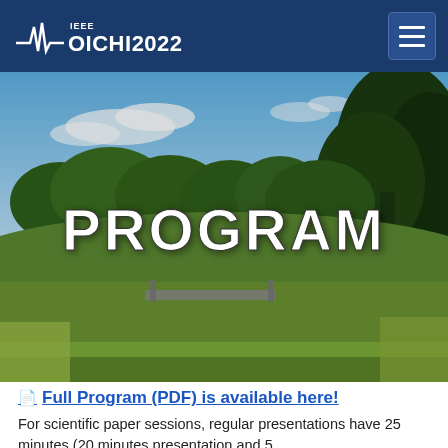IEEE OICHI 2022
[Figure (photo): Outdoor landscape photo showing a river winding through green meadows with trees and a bridge in the background under a blue sky, with the word PROGRAM overlaid in large bold white text]
Full Program (PDF) is available here!
For scientific paper sessions, regular presentations have 25 minutes (20 minutes presentation and 5